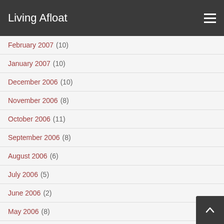Living Afloat
February 2007 (10)
January 2007 (10)
December 2006 (10)
November 2006 (8)
October 2006 (11)
September 2006 (8)
August 2006 (6)
July 2006 (5)
June 2006 (2)
May 2006 (8)
April 2006 (3)
March 2006 (4)